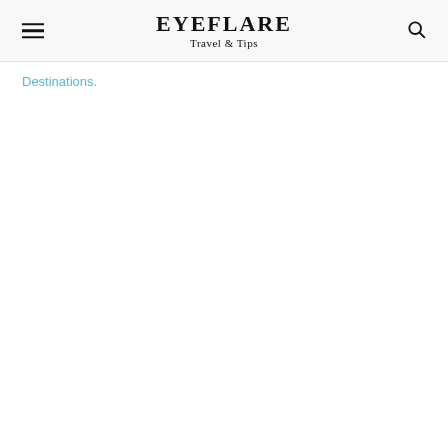EYEFLARE Travel & Tips
Destinations.